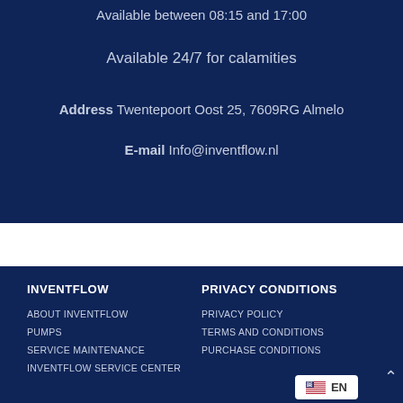Available between 08:15 and 17:00
Available 24/7 for calamities
Address Twentepoort Oost 25, 7609RG Almelo
E-mail Info@inventflow.nl
INVENTFLOW
PRIVACY CONDITIONS
ABOUT INVENTFLOW
PUMPS
SERVICE MAINTENANCE
INVENTFLOW SERVICE CENTER
PRIVACY POLICY
TERMS AND CONDITIONS
PURCHASE CONDITIONS